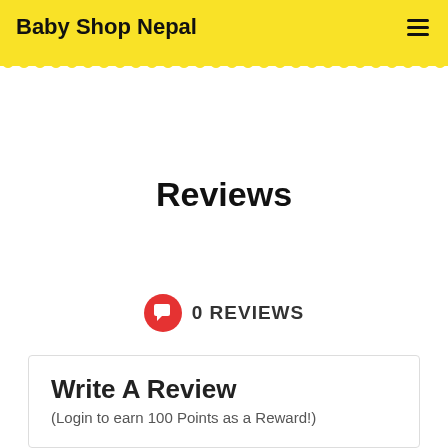Baby Shop Nepal
Reviews
0 REVIEWS
Write A Review
(Login to earn 100 Points as a Reward!)